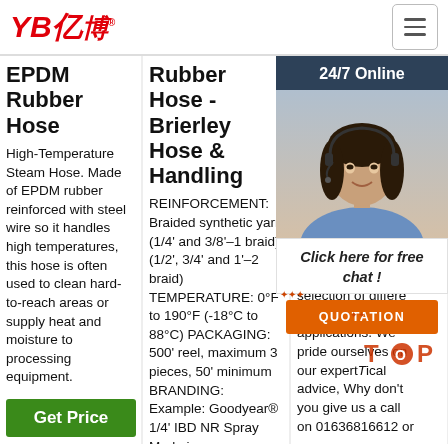YB亿博® [logo] | hamburger menu
EPDM Rubber Hose
High-Temperature Steam Hose. Made of EPDM rubber reinforced with steel wire so it handles high temperatures, this hose is often used to clean hard-to-reach areas or supply heat and moisture to processing equipment.
Rubber Hose - Brierley Hose & Handling
REINFORCEMENT: Braided synthetic yarn (1/4' and 3/8'–1 braid) (1/2', 3/4' and 1'–2 braid) TEMPERATURE: 0°F to 190°F (-18°C to 88°C) PACKAGING: 500' reel, maximum 3 pieces, 50' minimum BRANDING: Example: Goodyear® 1/4' IBD NR Spray Made in
Su De
Suc Hos for l app sta hos abr bul we selection of different hoses for all applications. We pride ourselves on our expert technical advice, Why don't you give us a call on 01636816612 or
[Figure (photo): Customer service woman with headset, 24/7 Online chat overlay with QUOTATION button]